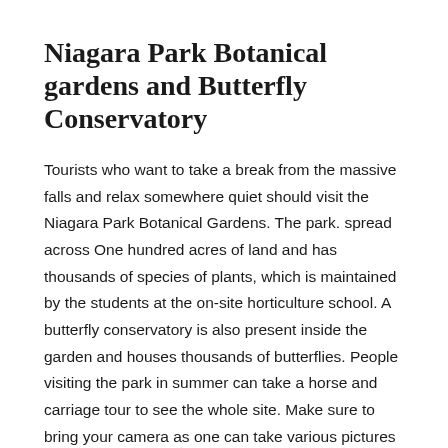Niagara Park Botanical gardens and Butterfly Conservatory
Tourists who want to take a break from the massive falls and relax somewhere quiet should visit the Niagara Park Botanical Gardens. The park. spread across One hundred acres of land and has thousands of species of plants, which is maintained by the students at the on-site horticulture school. A butterfly conservatory is also present inside the garden and houses thousands of butterflies. People visiting the park in summer can take a horse and carriage tour to see the whole site. Make sure to bring your camera as one can take various pictures inside the park.